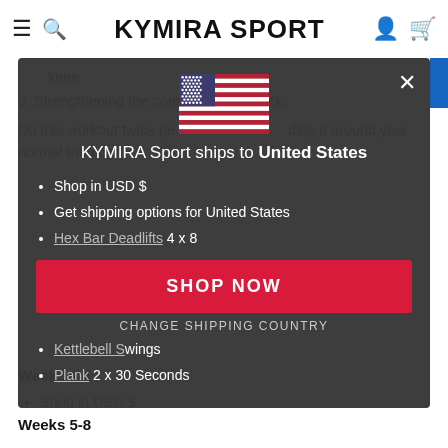KYMIRA SPORT
knee.
3. Strengthening the core and lower back.
Do this workout twice pe...ding it around your normal training.
[Figure (illustration): US flag icon]
KYMIRA Sport ships to United States
Shop in USD $
Get shipping options for United States
Hex Bar Deadlifts 4 x 8
[Figure (other): SHOP NOW button]
CHANGE SHIPPING COUNTRY
Kettlebell Swings
Plank 2 x 30 Seconds
Weeks 5-8